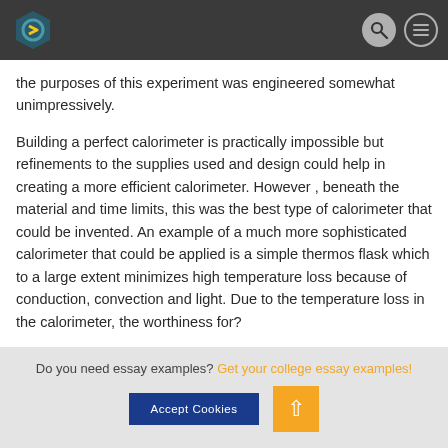Navigation bar with logo, search icon, and menu icon
the purposes of this experiment was engineered somewhat unimpressively.
Building a perfect calorimeter is practically impossible but refinements to the supplies used and design could help in creating a more efficient calorimeter. However , beneath the material and time limits, this was the best type of calorimeter that could be invented. An example of a much more sophisticated calorimeter that could be applied is a simple thermos flask which to a large extent minimizes high temperature loss because of conduction, convection and light. Due to the temperature loss in the calorimeter, the worthiness for?
Do you need essay examples? Get your college essay examples!
Accept Cookies